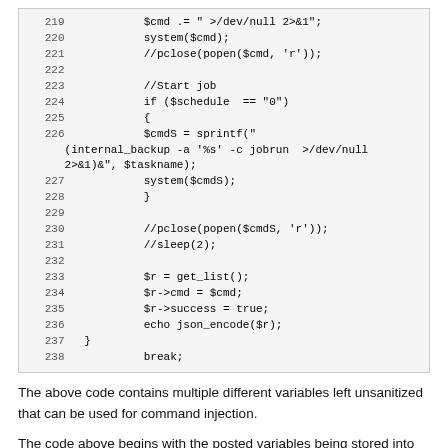[Figure (screenshot): PHP code listing, lines 219-238, showing command execution and job scheduling logic with $cmd, system(), $cmdS, sprintf, get_list(), json_encode, and break.]
The above code contains multiple different variables left unsanitized that can be used for command injection.
The code above begins with the posted variables being stored into local variables (Ln. 194-204). Following, a set of conditionals are used to create a local variable "$sch_command" with the proper format for the "-r" argument for the "internal_backup" binary (Ln. 206-210). During this